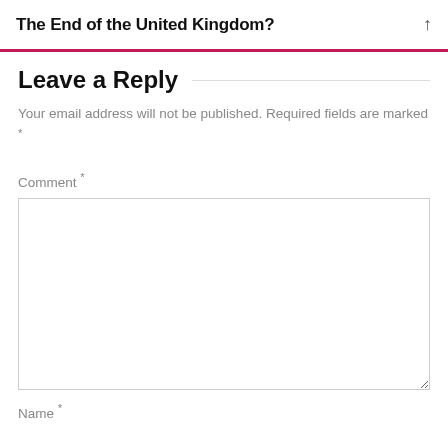The End of the United Kingdom?
Leave a Reply
Your email address will not be published. Required fields are marked *
Comment *
Name *